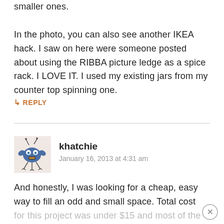smaller ones.

In the photo, you can also see another IKEA hack. I saw on here were someone posted about using the RIBBA picture ledge as a spice rack. I LOVE IT. I used my existing jars from my counter top spinning one.
↳ REPLY
khatchie
January 16, 2013 at 4:31 am
[Figure (illustration): Avatar image of a blue cartoon monster creature with antennae and stick legs on a pink/beige background]
And honestly, I was looking for a cheap, easy way to fill an odd and small space. Total cost for this project was under $15 and most of the stuff, like the paint and screws I already